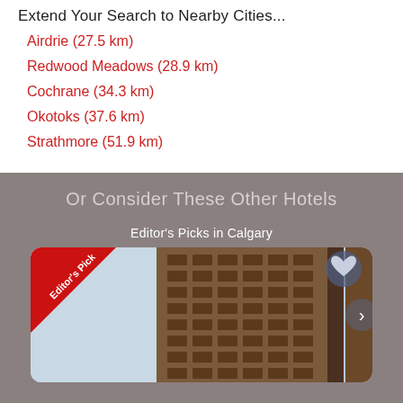Extend Your Search to Nearby Cities...
Airdrie (27.5 km)
Redwood Meadows (28.9 km)
Cochrane (34.3 km)
Okotoks (37.6 km)
Strathmore (51.9 km)
Or Consider These Other Hotels
Editor's Picks in Calgary
[Figure (photo): Hotel building exterior photo with Editor's Pick ribbon badge in top-left corner and a heart/favorite button in top-right corner, showing a tall brick hotel building against a blue sky. A right-arrow navigation button is visible on the right edge.]